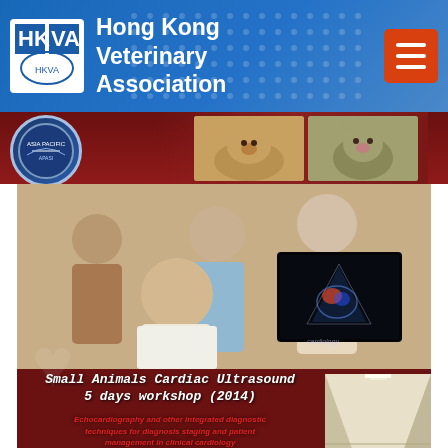Hong Kong Veterinary Association
[Figure (photo): Banner with APASI logo and pets (dog and cat) on dark red background]
[Figure (photo): Workshop photo collage showing veterinary echocardiography training with ultrasound image inset]
Small Animals Cardiac Ultrasound 5 days workshop (2014)
Echocardiography and other integrated diagnostic techniques for diagnosis staging and patient management in clinical cardiology
Presented by:
Prof. CLAUDIO MARIA BUSSADORI
Venue: Hong Kong Veterinary Imaging Center
L/F, No. 9-13 Haojia Street, Shien Shui Po, Kowloon, Hong Kong
Application
Complete the online application form @ Asia Pacific Applied Science Institute offical website